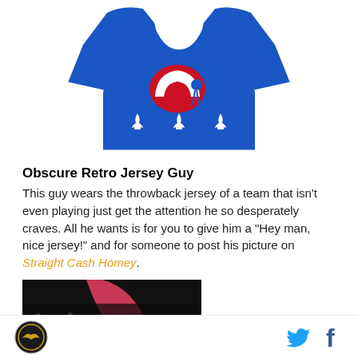[Figure (photo): Blue Quebec Nordiques retro hockey jersey with white trim, red and white logo, and three white fleur-de-lis on the front]
Obscure Retro Jersey Guy
This guy wears the throwback jersey of a team that isn't even playing just get the attention he so desperately craves. All he wants is for you to give him a "Hey man, nice jersey!" and for someone to post his picture on Straight Cash Homey.
[Figure (photo): Partial dark image with a pink/red curved object, appears to be a crowd or event scene]
Footer with circular logo on left and Twitter and Facebook share icons on right